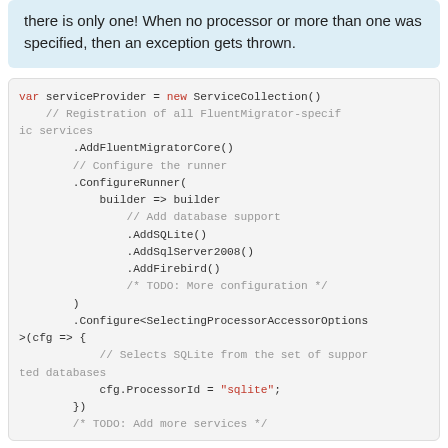there is only one! When no processor or more than one was specified, then an exception gets thrown.
[Figure (screenshot): Code block showing C# code for setting up a ServiceCollection with FluentMigrator, configuring the runner with SQLite, SqlServer2008, Firebird database support, and SelectingProcessorAccessorOptions with cfg.ProcessorId set to 'sqlite'.]